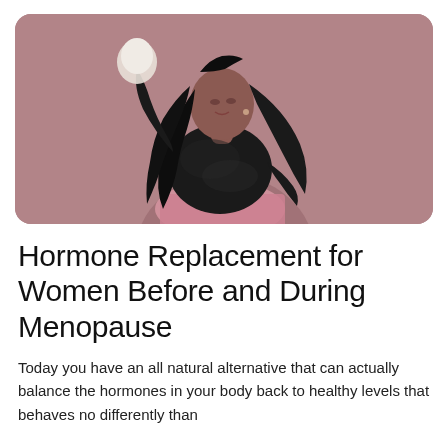[Figure (photo): A woman with long black hair wearing a black textured sweater and pink pleated skirt, posing against a mauve/dusty rose background. She is leaning back with one arm raised holding a white object.]
Hormone Replacement for Women Before and During Menopause
Today you have an all natural alternative that can actually balance the hormones in your body back to healthy levels that behaves no differently than